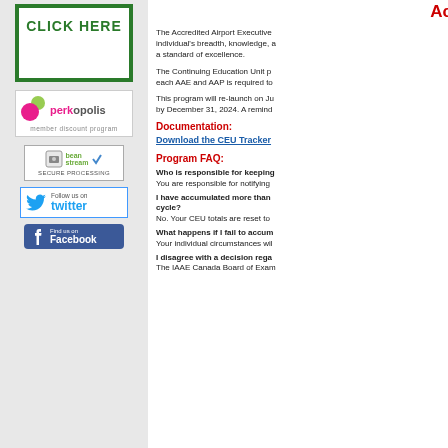[Figure (screenshot): CLICK HERE green bordered button image on left sidebar]
[Figure (logo): Perkopolis member discount program logo]
[Figure (logo): Beanstream Secure Processing badge]
[Figure (logo): Follow us on Twitter button]
[Figure (logo): Find us on Facebook button]
Ac
The Accredited Airport Executive individual's breadth, knowledge, a a standard of excellence.
The Continuing Education Unit p each AAE and AAP is required to
This program will re-launch on Ju by December 31, 2024. A remind
Documentation:
Download the CEU Tracker
Program FAQ:
Who is responsible for keeping
You are responsible for notifying
I have accumulated more than cycle?
No. Your CEU totals are reset to
What happens if I fail to accum
Your individual circumstances wil
I disagree with a decision rega
The IAAE Canada Board of Exam